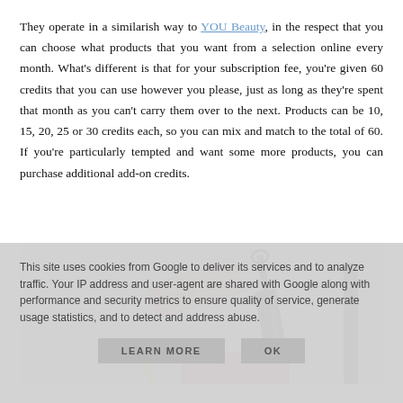They operate in a similarish way to YOU Beauty, in the respect that you can choose what products that you want from a selection online every month. What's different is that for your subscription fee, you're given 60 credits that you can use however you please, just as long as they're spent that month as you can't carry them over to the next. Products can be 10, 15, 20, 25 or 30 credits each, so you can mix and match to the total of 60. If you're particularly tempted and want some more products, you can purchase additional add-on credits.
[Figure (photo): Flat lay photo on a marble surface showing a pink Roller Lash mascara box and a mascara tube with a rose-gold cap and black brush handle, plus a partially visible pink card underneath.]
This site uses cookies from Google to deliver its services and to analyze traffic. Your IP address and user-agent are shared with Google along with performance and security metrics to ensure quality of service, generate usage statistics, and to detect and address abuse.